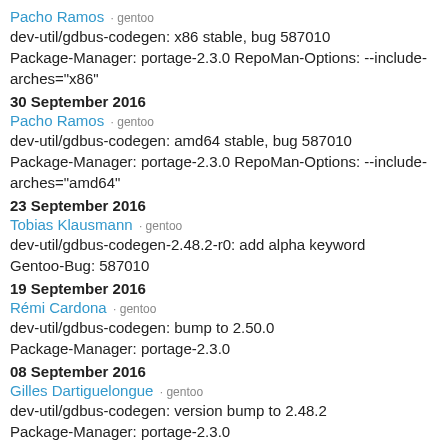Pacho Ramos · gentoo
dev-util/gdbus-codegen: x86 stable, bug 587010
Package-Manager: portage-2.3.0 RepoMan-Options: --include-arches="x86"
30 September 2016
Pacho Ramos · gentoo
dev-util/gdbus-codegen: amd64 stable, bug 587010
Package-Manager: portage-2.3.0 RepoMan-Options: --include-arches="amd64"
23 September 2016
Tobias Klausmann · gentoo
dev-util/gdbus-codegen-2.48.2-r0: add alpha keyword
Gentoo-Bug: 587010
19 September 2016
Rémi Cardona · gentoo
dev-util/gdbus-codegen: bump to 2.50.0
Package-Manager: portage-2.3.0
08 September 2016
Gilles Dartiguelongue · gentoo
dev-util/gdbus-codegen: version bump to 2.48.2
Package-Manager: portage-2.3.0
09 July 2016